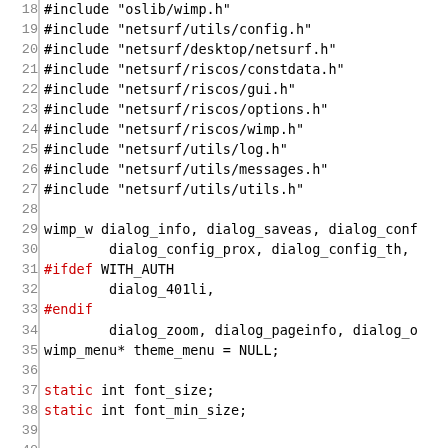18  #include "oslib/wimp.h"
19  #include "netsurf/utils/config.h"
20  #include "netsurf/desktop/netsurf.h"
21  #include "netsurf/riscos/constdata.h"
22  #include "netsurf/riscos/gui.h"
23  #include "netsurf/riscos/options.h"
24  #include "netsurf/riscos/wimp.h"
25  #include "netsurf/utils/log.h"
26  #include "netsurf/utils/messages.h"
27  #include "netsurf/utils/utils.h"
28  
29  wimp_w dialog_info, dialog_saveas, dialog_conf
30          dialog_config_prox, dialog_config_th,
31  #ifdef WITH_AUTH
32          dialog_401li,
33  #endif
34          dialog_zoom, dialog_pageinfo, dialog_o
35  wimp_menu* theme_menu = NULL;
36  
37  static int font_size;
38  static int font_min_size;
39  
40  
41  static void ro_gui_dialog_click_config(wimp_po
42  static void ro_gui_dialog_click_config_br(wimp
43  static void ro_gui_dialog_update_config_br(voi
44  static void ro_gui_dialog_click_config_prox(wi
45  static void ro_gui_dialog_click_config_th(wimp
46  static void ro_gui_dialog_click_zoom(wimp_poir
47  static void ro_gui_dialog_reset_zoom(void);